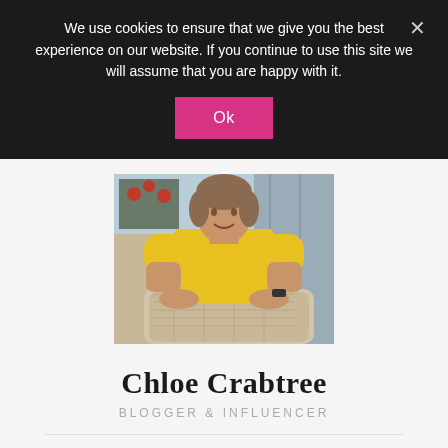We use cookies to ensure that we give you the best experience on our website. If you continue to use this site we will assume that you are happy with it.
Ok
[Figure (photo): Woman wearing a yellow top sitting at a wicker table outdoors on a porch]
Chloe Crabtree
BLOGGER & INFLUENCER
Creating a joyful world of holiday and seasonal decorations and everything needed